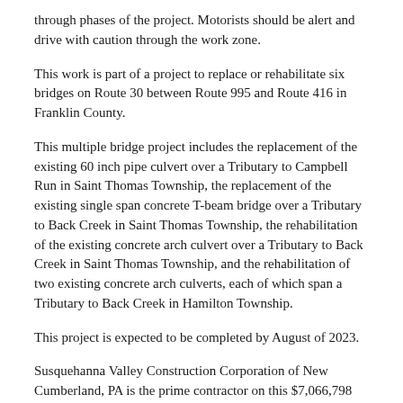through phases of the project. Motorists should be alert and drive with caution through the work zone.
This work is part of a project to replace or rehabilitate six bridges on Route 30 between Route 995 and Route 416 in Franklin County.
This multiple bridge project includes the replacement of the existing 60 inch pipe culvert over a Tributary to Campbell Run in Saint Thomas Township, the replacement of the existing single span concrete T-beam bridge over a Tributary to Back Creek in Saint Thomas Township, the rehabilitation of the existing concrete arch culvert over a Tributary to Back Creek in Saint Thomas Township, and the rehabilitation of two existing concrete arch culverts, each of which span a Tributary to Back Creek in Hamilton Township.
This project is expected to be completed by August of 2023.
Susquehanna Valley Construction Corporation of New Cumberland, PA is the prime contractor on this $7,066,798 project.
Motorists can check conditions on major roadways by